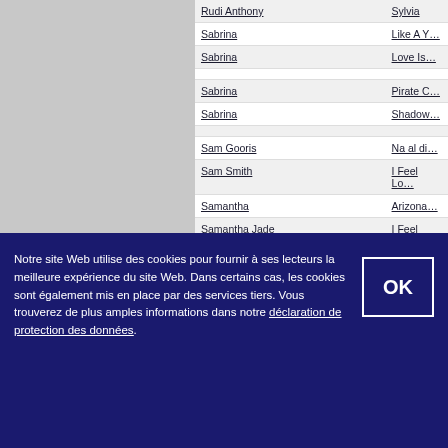| Artist | Song |
| --- | --- |
| Rudi Anthony | Sylvia |
| Sabrina | Like A Y... |
| Sabrina | Love Is... |
| Sabrina | Pirate C... |
| Sabrina | Shadow... |
| Sam Gooris | Na al di... |
| Sam Smith | I Feel Lo... |
| Samantha | Arizona... |
| Samantha Jade | I Feel Lo... |
| Samantha vs Sabrina | Call Me... |
| Sammy Hagar | Winner... |
| Sandra Kern | Arizona... |
| Sandra Schwarzhaupt feat. Conflict & Jazzy Flow | Take My... |
| Schiller / Giorgio Moroder | Lichtjah... |
| Scooter | Nevere... |
| Seija Simola | Luotan... |
Notre site Web utilise des cookies pour fournir à ses lecteurs la meilleure expérience du site Web. Dans certains cas, les cookies sont également mis en place par des services tiers. Vous trouverez de plus amples informations dans notre déclaration de protection des données.